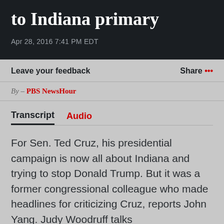to Indiana primary
Apr 28, 2016 7:41 PM EDT
Leave your feedback
Share ...
By – PBS NewsHour
Transcript  Audio
For Sen. Ted Cruz, his presidential campaign is now all about Indiana and trying to stop Donald Trump. But it was a former congressional colleague who made headlines for criticizing Cruz, reports John Yang. Judy Woodruff talks